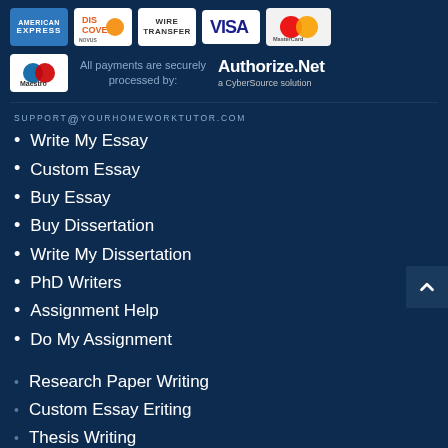[Figure (logo): Payment method logos: American Express, Discover, Wire Transfer, Visa, MasterCard]
[Figure (logo): Maestro logo, text 'All payments are securely processed by:', Authorize.Net a CyberSource solution logo]
SUPPORT@YOURHOMEWORKTUTOR.COM
Write My Essay
Custom Essay
Buy Essay
Buy Dissertation
Write My Dissertation
PhD Writers
Assignment Help
Do My Assignment
Research Paper Writing
Custom Essay Eriting
Thesis Writing